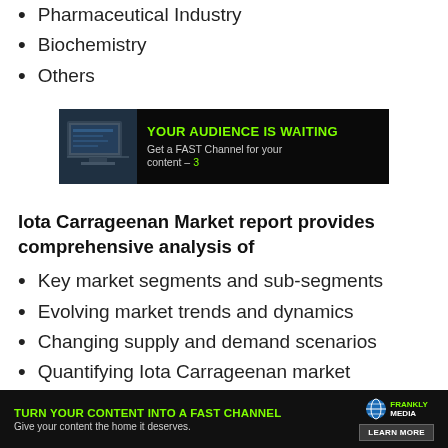Pharmaceutical Industry
Biochemistry
Others
[Figure (other): Advertisement banner: 'YOUR AUDIENCE IS WAITING - Get a FAST Channel for your content – 3' on dark background with thumbnail image]
Iota Carrageenan Market report provides comprehensive analysis of
Key market segments and sub-segments
Evolving market trends and dynamics
Changing supply and demand scenarios
Quantifying Iota Carrageenan market
[Figure (other): Advertisement banner: 'TURN YOUR CONTENT INTO A FAST CHANNEL - Give your content the home it deserves.' with Frankly Media logo and LEARN MORE button]